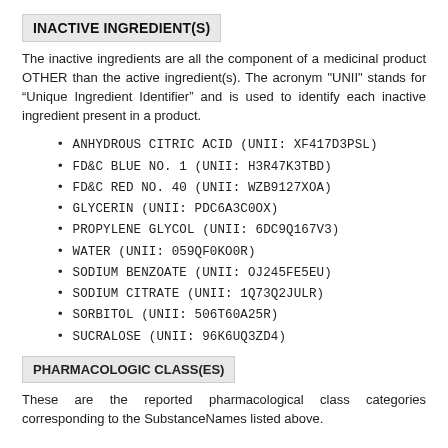INACTIVE INGREDIENT(S)
The inactive ingredients are all the component of a medicinal product OTHER than the active ingredient(s). The acronym "UNII" stands for “Unique Ingredient Identifier” and is used to identify each inactive ingredient present in a product.
ANHYDROUS CITRIC ACID (UNII: XF417D3PSL)
FD&C BLUE NO. 1 (UNII: H3R47K3TBD)
FD&C RED NO. 40 (UNII: WZB9127XOA)
GLYCERIN (UNII: PDC6A3C0OX)
PROPYLENE GLYCOL (UNII: 6DC9Q167V3)
WATER (UNII: 059QF0KO0R)
SODIUM BENZOATE (UNII: OJ245FE5EU)
SODIUM CITRATE (UNII: 1Q73Q2JULR)
SORBITOL (UNII: 506T60A25R)
SUCRALOSE (UNII: 96K6UQ3ZD4)
PHARMACOLOGIC CLASS(ES)
These are the reported pharmacological class categories corresponding to the SubstanceNames listed above.